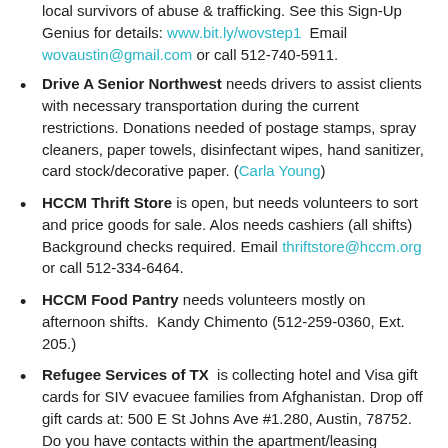local survivors of abuse & trafficking. See this Sign-Up Genius for details: www.bit.ly/wovstep1  Email wovaustin@gmail.com or call 512-740-5911.
Drive A Senior Northwest needs drivers to assist clients with necessary transportation during the current restrictions. Donations needed of postage stamps, spray cleaners, paper towels, disinfectant wipes, hand sanitizer, card stock/decorative paper. (Carla Young)
HCCM Thrift Store is open, but needs volunteers to sort and price goods for sale. Alos needs cashiers (all shifts) Background checks required. Email thriftstore@hccm.org or call 512-334-6464.
HCCM Food Pantry needs volunteers mostly on afternoon shifts.  Kandy Chimento (512-259-0360, Ext. 205.)
Refugee Services of TX  is collecting hotel and Visa gift cards for SIV evacuee families from Afghanistan. Drop off gift cards at: 500 E St Johns Ave #1.280, Austin, 78752. Do you have contacts within the apartment/leasing community? Connect Ryan or Kathryn with an email